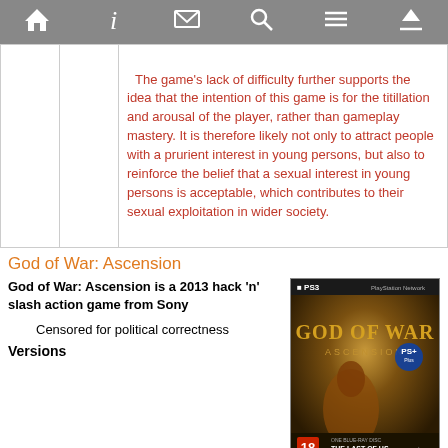Navigation toolbar with icons: home, info, mail, search, menu, up
|  |  | Content |
| --- | --- | --- |
|  |  | The game's lack of difficulty further supports the idea that the intention of this game is for the titillation and arousal of the player, rather than gameplay mastery. It is therefore likely not only to attract people with a prurient interest in young persons, but also to reinforce the belief that a sexual interest in young persons is acceptable, which contributes to their sexual exploitation in wider society. |
God of War: Ascension
God of War: Ascension is a 2013 hack 'n' slash action game from Sony
Censored for political correctness
Versions
[Figure (photo): God of War: Ascension PS3 game cover art showing Kratos, rated 18]
|  | Rating | Region/Description |
| --- | --- | --- |
| cut | MATURE M | US: In the course of God of War: Ascension, Kratos has to fight a female boss. When she is struck down, the |